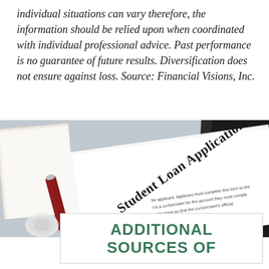individual situations can vary therefore, the information should be relied upon when coordinated with individual professional advice. Past performance is no guarantee of future results. Diversification does not ensure against loss. Source: Financial Visions, Inc.
[Figure (photo): Photo of a red pen resting on a Student Loan Application form, with papers and a clipboard in the background]
ADDITIONAL SOURCES OF